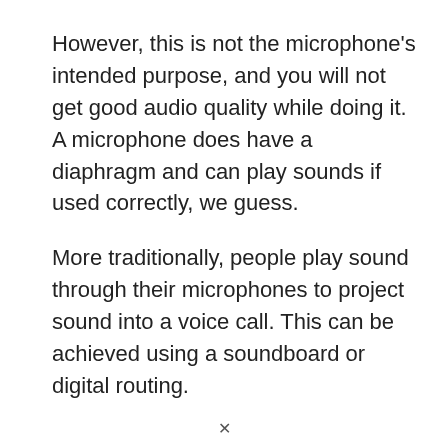However, this is not the microphone's intended purpose, and you will not get good audio quality while doing it. A microphone does have a diaphragm and can play sounds if used correctly, we guess.
More traditionally, people play sound through their microphones to project sound into a voice call. This can be achieved using a soundboard or digital routing.
v